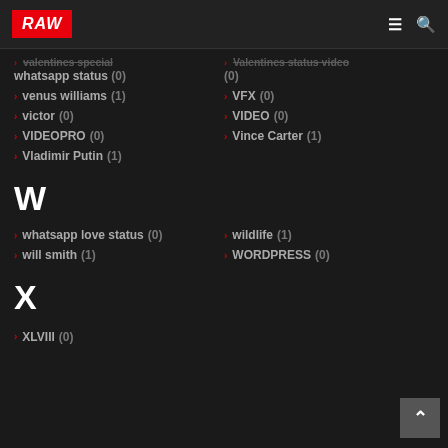RAW
valentines special whatsapp status (0)
Valentines status video (0)
venus williams (1)
VFX (0)
victor (0)
VIDEO (0)
VIDEOPRO (0)
Vince Carter (1)
Vladimir Putin (1)
W
whatsapp love status (0)
wildlife (1)
will smith (1)
WORDPRESS (0)
X
XLVIII (0)